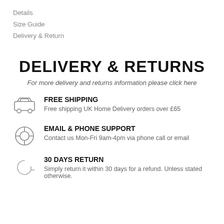Details
Size Guide
Delivery & Return
DELIVERY & RETURNS
For more delivery and returns information please click here
[Figure (illustration): Car/truck icon representing free shipping]
FREE SHIPPING
Free shipping UK Home Delivery orders over £65
[Figure (illustration): Lifebuoy/support icon representing email and phone support]
EMAIL & PHONE SUPPORT
Contact us Mon-Fri 9am-4pm via phone call or email
[Figure (illustration): Refresh/return arrow icon representing 30 days return]
30 DAYS RETURN
Simply return it within 30 days for a refund. Unless stated otherwise.